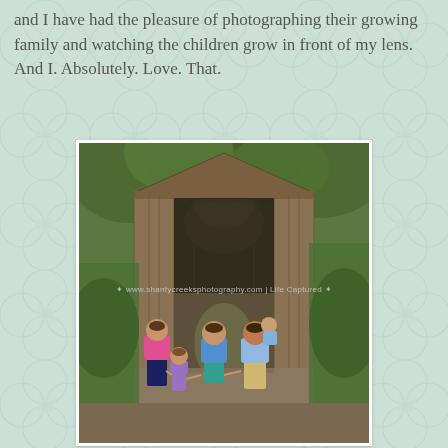and I have had the pleasure of photographing their growing family and watching the children grow in front of my lens. And I. Absolutely. Love. That.
[Figure (photo): Family of five posing at the entrance of a rustic wooden covered bridge surrounded by trees. A woman in pink cardigan and navy shorts, a girl in purple dress, a teenager in blue shirt and teal shorts, a man in light blue shirt and khaki shorts holding a toddler.]
* www.shantycreeksphotography.com | Life Captured *